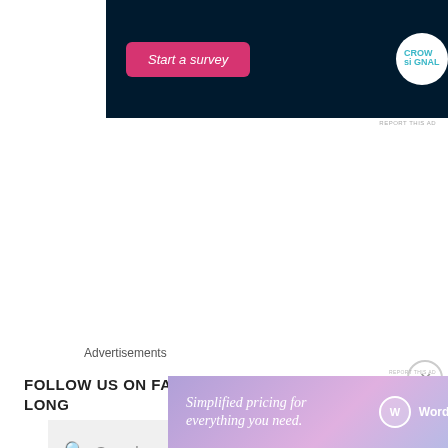[Figure (screenshot): Dark navy advertisement banner with pink 'Start a survey' button and Crowdsignal logo on white circle]
REPORT THIS AD
[Figure (screenshot): Search box with magnifying glass icon and 'Search ...' placeholder text on light grey background]
[Figure (screenshot): Blue 'Follow Crochet Along With Us!!!' button with WordPress circle icon]
FOLLOW US ON FACEBOOK AT CAL-CROCHET A LONG
Advertisements
[Figure (screenshot): WordPress.com advertisement with gradient purple-pink background: 'Simplified pricing for everything you need.' with WordPress.com logo]